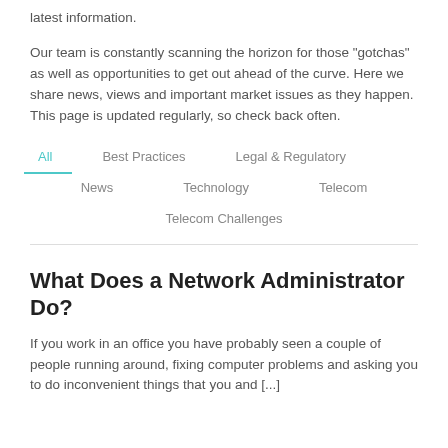latest information.
Our team is constantly scanning the horizon for those "gotchas" as well as opportunities to get out ahead of the curve. Here we share news, views and important market issues as they happen. This page is updated regularly, so check back often.
All
Best Practices
Legal & Regulatory
News
Technology
Telecom
Telecom Challenges
What Does a Network Administrator Do?
If you work in an office you have probably seen a couple of people running around, fixing computer problems and asking you to do inconvenient things that you and [...]